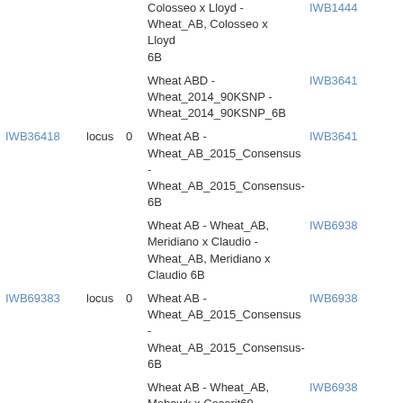| ID | Type | Num | Description | Ref |
| --- | --- | --- | --- | --- |
|  |  |  | Colosseo x Lloyd - Wheat_AB, Colosseo x Lloyd 6B | IWB1444 |
|  |  |  | Wheat ABD - Wheat_2014_90KSNP - Wheat_2014_90KSNP_6B | IWB3641 |
| IWB36418 | locus | 0 | Wheat AB - Wheat_AB_2015_Consensus - Wheat_AB_2015_Consensus-6B | IWB3641 |
|  |  |  | Wheat AB - Wheat_AB, Meridiano x Claudio - Wheat_AB, Meridiano x Claudio 6B | IWB6938 |
| IWB69383 | locus | 0 | Wheat AB - Wheat_AB_2015_Consensus - Wheat_AB_2015_Consensus-6B | IWB6938 |
|  |  |  | Wheat AB - Wheat_AB, Mohawk x Cocorit69 - Wheat_AB, Mohawk x Cocorit69 6B | IWB6938 |
|  |  |  | Wheat AB - Wheat_AB, Svevo x Ciccio - Wheat_AB, Svevo x | IWB7142 |